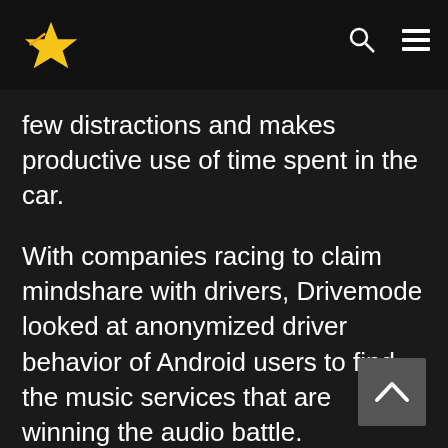few distractions and makes productive use of time spent in the car.
With companies racing to claim mindshare with drivers, Drivemode looked at anonymized driver behavior of Android users to find the music services that are winning the audio battle.